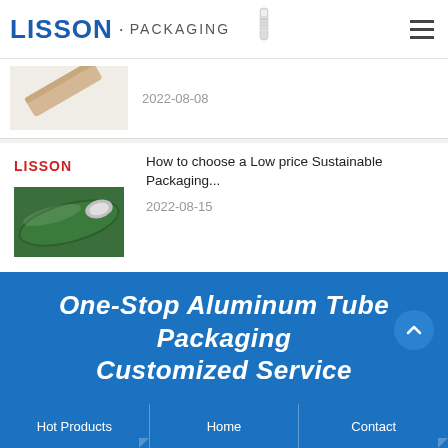LISSON · PACKAGING
[Figure (photo): Partial product image - beige/tan cosmetic tube at an angle, cropped]
2022-08-08
[Figure (logo): LISSON red logo small]
How to choose a Low price Sustainable Packaging...
2022-08-15
[Figure (photo): Green cosmetic tube with metallic silver tip, angled view]
One-Stop Aluminum Tube Packaging Customized Service
Hot Products   Home   Contact